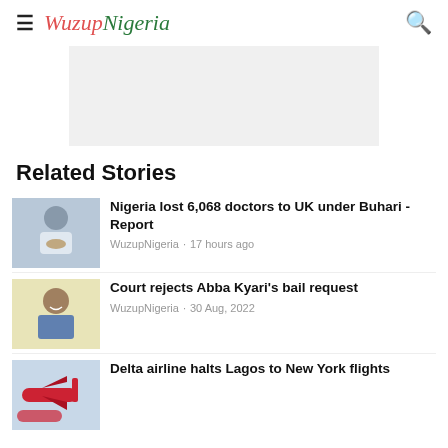≡ WuzupNigeria 🔍
[Figure (other): Advertisement placeholder, light grey rectangle]
Related Stories
[Figure (photo): Photo of a man in white clothing with hands clasped]
Nigeria lost 6,068 doctors to UK under Buhari - Report
WuzupNigeria · 17 hours ago
[Figure (photo): Photo of Abba Kyari in police uniform]
Court rejects Abba Kyari's bail request
WuzupNigeria · 30 Aug, 2022
[Figure (photo): Photo of Delta airline planes at an airport]
Delta airline halts Lagos to New York flights